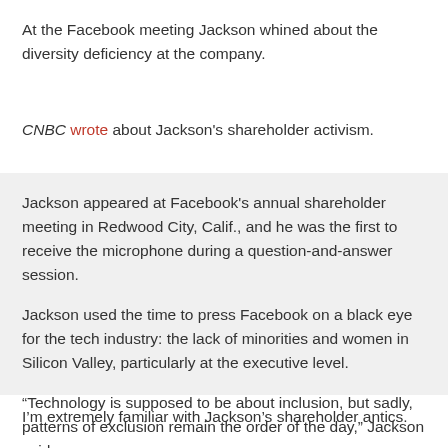At the Facebook meeting Jackson whined about the diversity deficiency at the company.
CNBC wrote about Jackson's shareholder activism.
Jackson appeared at Facebook's annual shareholder meeting in Redwood City, Calif., and he was the first to receive the microphone during a question-and-answer session.
Jackson used the time to press Facebook on a black eye for the tech industry: the lack of minorities and women in Silicon Valley, particularly at the executive level.
“Technology is supposed to be about inclusion, but sadly, patterns of exclusion remain the order of the day,” Jackson said.
I’m extremely familiar with Jackson’s shareholder antics.